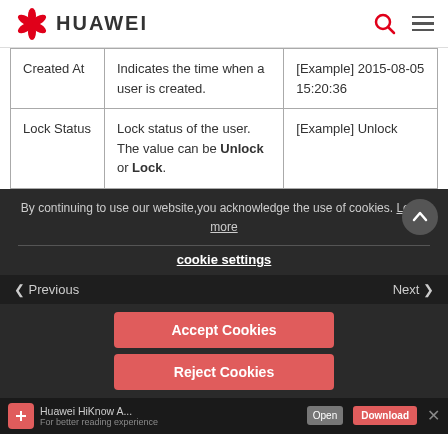HUAWEI
| Created At | Indicates the time when a user is created. | [Example] 2015-08-05 15:20:36 |
| Lock Status | Lock status of the user. The value can be Unlock or Lock. | [Example] Unlock |
By continuing to use our website, you acknowledge the use of cookies. Learn more
cookie settings
Previous | Next
Accept Cookies
Reject Cookies
Huawei HiKnow A... For better reading experience | Download